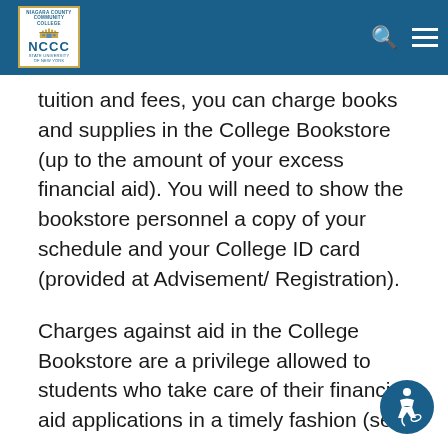NCCC - Niagara County Community College
tuition and fees, you can charge books and supplies in the College Bookstore (up to the amount of your excess financial aid). You will need to show the bookstore personnel a copy of your schedule and your College ID card (provided at Advisement/ Registration).
Charges against aid in the College Bookstore are a privilege allowed to students who take care of their financial aid applications in a timely fashion (see